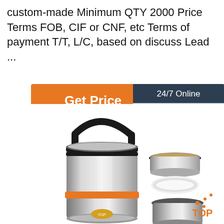custom-made Minimum QTY 2000 Price Terms FOB, CIF or CNF, etc Terms of payment T/T, L/C, based on discuss Lead ...
[Figure (other): Orange 'Get Price' button]
[Figure (other): 24/7 Online customer service widget with photo of woman with headset, 'Click here for free chat!' text, and orange QUOTATION button]
[Figure (photo): Stainless steel insulated lunch box container with black handle and orange accent ring, shown assembled on left and disassembled on right. 'TOP' label visible bottom right.]